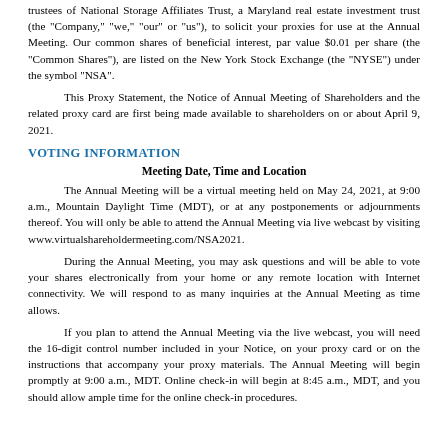trustees of National Storage Affiliates Trust, a Maryland real estate investment trust (the "Company," "we," "our" or "us"), to solicit your proxies for use at the Annual Meeting. Our common shares of beneficial interest, par value $0.01 per share (the "Common Shares"), are listed on the New York Stock Exchange (the "NYSE") under the symbol "NSA".
This Proxy Statement, the Notice of Annual Meeting of Shareholders and the related proxy card are first being made available to shareholders on or about April 9, 2021.
VOTING INFORMATION
Meeting Date, Time and Location
The Annual Meeting will be a virtual meeting held on May 24, 2021, at 9:00 a.m., Mountain Daylight Time (MDT), or at any postponements or adjournments thereof. You will only be able to attend the Annual Meeting via live webcast by visiting www.virtualshareholdermeeting.com/NSA2021.
During the Annual Meeting, you may ask questions and will be able to vote your shares electronically from your home or any remote location with Internet connectivity. We will respond to as many inquiries at the Annual Meeting as time allows.
If you plan to attend the Annual Meeting via the live webcast, you will need the 16-digit control number included in your Notice, on your proxy card or on the instructions that accompany your proxy materials. The Annual Meeting will begin promptly at 9:00 a.m., MDT. Online check-in will begin at 8:45 a.m., MDT, and you should allow ample time for the online check-in procedures.